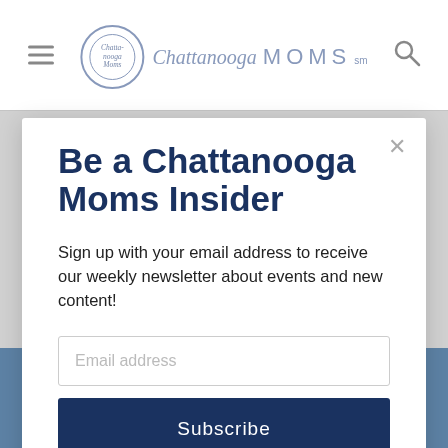Chattanooga MOMS
Be a Chattanooga Moms Insider
Sign up with your email address to receive our weekly newsletter about events and new content!
[Figure (screenshot): Email address input field (empty, placeholder text 'Email address') followed by a dark navy Subscribe button]
[Figure (photo): Partially visible background image showing the word NO in large pale letters and a person's head/hair in the lower portion of the page]